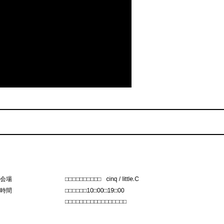[Figure (other): Large black rectangle occupying upper-left portion of the page]
会場　　　　　　　xxxxxxxxxx　cinq / little.C
時間　　　　　　　xxxxxxx10□00□19□00
xxxxxxxxxxxxxxxxxx